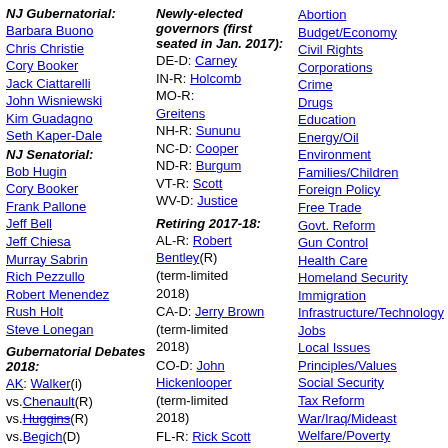NJ Gubernatorial:
Barbara Buono
Chris Christie
Cory Booker
Jack Ciattarelli
John Wisniewski
Kim Guadagno
Seth Kaper-Dale
NJ Senatorial:
Bob Hugin
Cory Booker
Frank Pallone
Jeff Bell
Jeff Chiesa
Murray Sabrin
Rich Pezzullo
Robert Menendez
Rush Holt
Steve Lonegan
Gubernatorial Debates 2018:
AK: Walker(i) vs.Chenault(R) vs.Huggins(R) vs.Begich(D) vs.Treadwell(D)
AL: Kay Ivey(R) vs.Countryman(D) vs.Tommy Battle (R) vs.Walt Maddox (R)
Newly-elected governors (first seated in Jan. 2017):
DE-D: Carney
IN-R: Holcomb
MO-R: Greitens
NH-R: Sununu
NC-D: Cooper
ND-R: Burgum
VT-R: Scott
WV-D: Justice
Retiring 2017-18:
AL-R: Robert Bentley(R) (term-limited 2018)
CA-D: Jerry Brown (term-limited 2018)
CO-D: John Hickenlooper (term-limited 2018)
FL-R: Rick Scott
Abortion
Budget/Economy
Civil Rights
Corporations
Crime
Drugs
Education
Energy/Oil
Environment
Families/Children
Foreign Policy
Free Trade
Govt. Reform
Gun Control
Health Care
Homeland Security
Immigration
Infrastructure/Technology
Jobs
Local Issues
Principles/Values
Social Security
Tax Reform
War/Iraq/Mideast
Welfare/Poverty